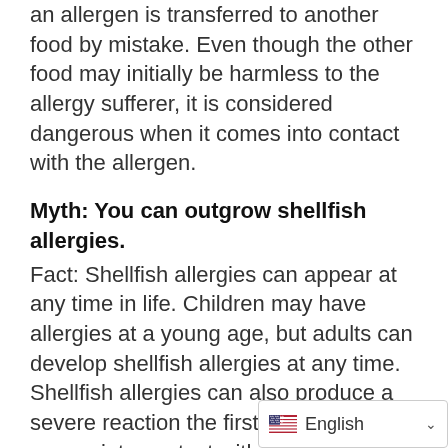an allergen is transferred to another food by mistake. Even though the other food may initially be harmless to the allergy sufferer, it is considered dangerous when it comes into contact with the allergen.
Myth: You can outgrow shellfish allergies.
Fact: Shellfish allergies can appear at any time in life. Children may have allergies at a young age, but adults can develop shellfish allergies at any time. Shellfish allergies can also produce a severe reaction the first time someone comes into contact with shellfish after developing an allergy. Very few people outgrow the allergy, and it may worsen over time.
Myth: You can't have an allergic reaction if you don't consume shellfish.
Fact: People who hav...